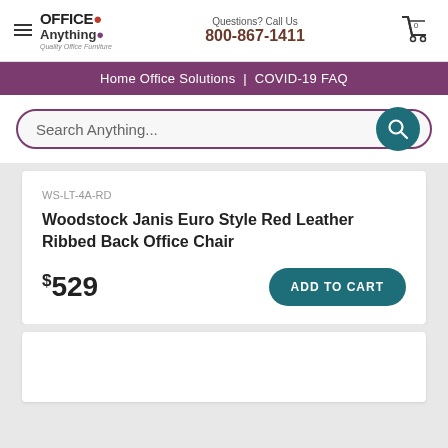Office Anything | Questions? Call Us 800-867-1411
Home Office Solutions | COVID-19 FAQ
Search Anything...
WS-LT-4A-RD
Woodstock Janis Euro Style Red Leather Ribbed Back Office Chair
$529
ADD TO CART